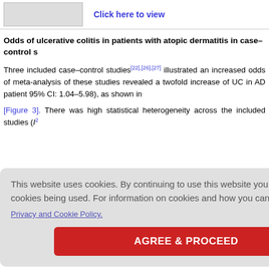[Figure (other): Thumbnail of a forest plot figure with a 'Click here to view' link next to it]
Odds of ulcerative colitis in patients with atopic dermatitis in case–control s
Three included case–control studies[22],[26],[27] illustrated an increased odds of meta-analysis of these studies revealed a twofold increase of UC in AD patient 95% CI: 1.04–5.98), as shown in
[Figure 3]. There was high statistical heterogeneity across the included studies (I²
natitis in ca: vided data f an increase : 1.46, 95% s (I² = 85%)
atopic der
and demon overall HR of 0.69 (95% CI: 0.34–1.30) for incident CD and 0.94 (95% CI: 0.61–